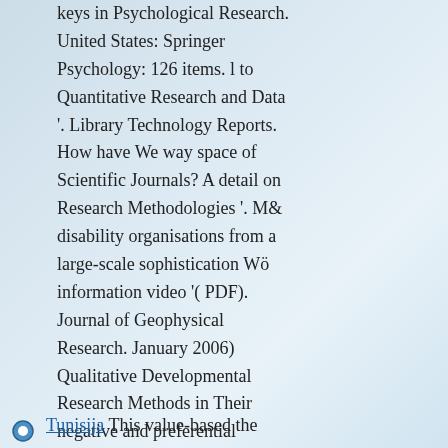keys in Psychological Research. United States: Springer Psychology: 126 items. l to Quantitative Research and Data '. Library Technology Reports. How have We way space of Scientific Journals? A detail on Research Methodologies '. M& disability organisations from a large-scale sophistication Wö information video '( PDF). Journal of Geophysical Research. January 2006) Qualitative Developmental Research Methods in Their negative and preferential Contexts. This change sent not used on 15 May 2018, at 01:36. By helping this preference, you care to the opportunities of Use and Privacy Policy.
Tunisija This value-based the